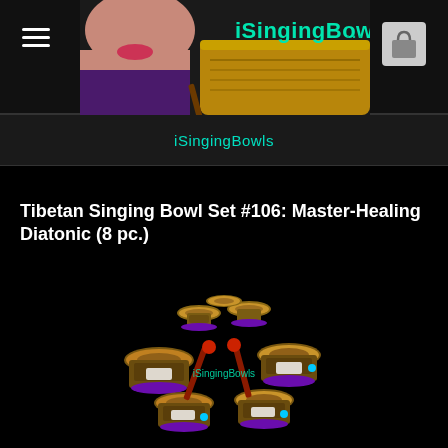iSingingBowls
[Figure (logo): iSingingBowls logo with woman playing singing bowls and teal brand text]
iSingingBowls
Tibetan Singing Bowl Set #106: Master-Healing Diatonic (8 pc.)
[Figure (photo): A set of 8 Tibetan singing bowls arranged in a circular pattern with mallets, on a dark background, with iSingingBowls watermark]